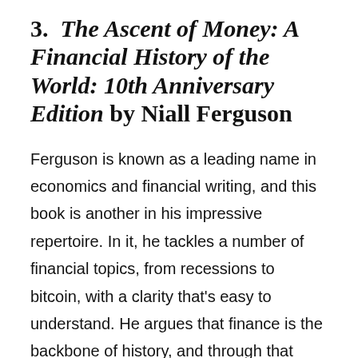3.  The Ascent of Money: A Financial History of the World: 10th Anniversary Edition by Niall Ferguson
Ferguson is known as a leading name in economics and financial writing, and this book is another in his impressive repertoire. In it, he tackles a number of financial topics, from recessions to bitcoin, with a clarity that's easy to understand. He argues that finance is the backbone of history, and through that lens, he examines everything from the